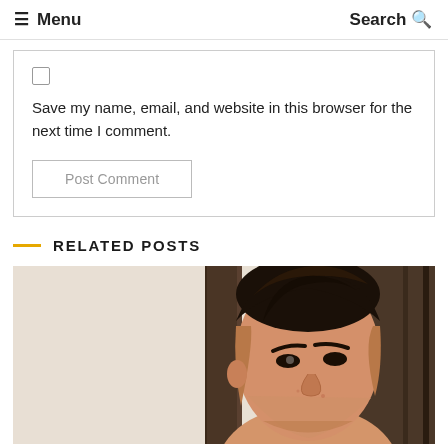☰ Menu   Search Q
Save my name, email, and website in this browser for the next time I comment.
Post Comment
RELATED POSTS
[Figure (photo): Portrait photo of a young Asian man with styled dark hair, looking upward to the side, against a light background with dark wooden elements.]